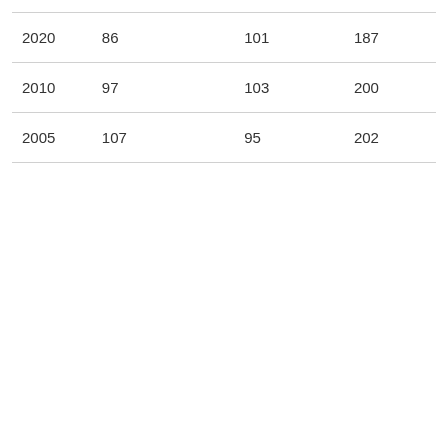| 2020 | 86 | 101 | 187 |
| 2010 | 97 | 103 | 200 |
| 2005 | 107 | 95 | 202 |